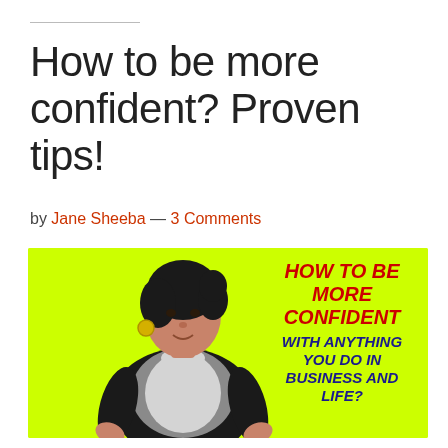How to be more confident? Proven tips!
by Jane Sheeba — 3 Comments
[Figure (photo): Woman with hands on hips standing in front of a lime green background with overlaid text reading 'HOW TO BE MORE CONFIDENT WITH ANYTHING YOU DO IN BUSINESS AND LIFE?']